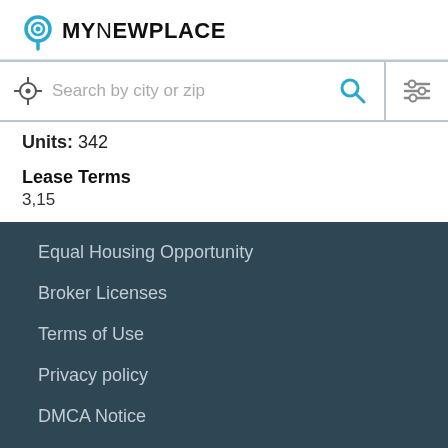[Figure (logo): MyNewPlace logo with location pin icon]
Search by city or zip
Units: 342
Lease Terms
3,15
Equal Housing Opportunity
Broker Licenses
Terms of Use
Privacy policy
DMCA Notice
Help